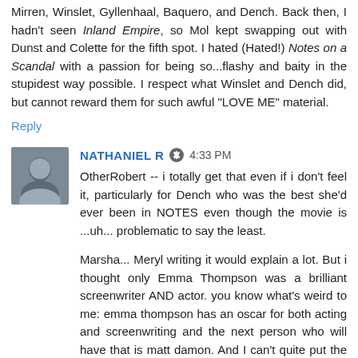Mirren, Winslet, Gyllenhaal, Baquero, and Dench. Back then, I hadn't seen Inland Empire, so Mol kept swapping out with Dunst and Colette for the fifth spot. I hated (Hated!) Notes on a Scandal with a passion for being so...flashy and baity in the stupidest way possible. I respect what Winslet and Dench did, but cannot reward them for such awful "LOVE ME" material.
Reply
NATHANIEL R  4:33 PM
OtherRobert -- i totally get that even if i don't feel it, particularly for Dench who was the best she'd ever been in NOTES even though the movie is ...uh... problematic to say the least.
Marsha... Meryl writing it would explain a lot. But i thought only Emma Thompson was a brilliant screenwriter AND actor. you know what's weird to me: emma thompson has an oscar for both acting and screenwriting and the next person who will have that is matt damon. And I can't quite put the two of them together.